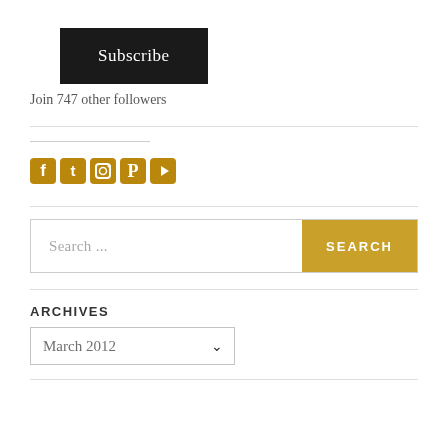Subscribe
Join 747 other followers
[Figure (illustration): Social media icons row: Facebook, Twitter, Instagram, Pinterest, YouTube in dark gold/olive color]
Search ...
SEARCH
ARCHIVES
March 2012